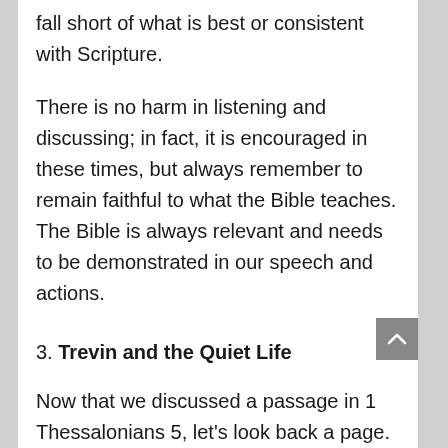fall short of what is best or consistent with Scripture.
There is no harm in listening and discussing; in fact, it is encouraged in these times, but always remember to remain faithful to what the Bible teaches. The Bible is always relevant and needs to be demonstrated in our speech and actions.
3. Trevin and the Quiet Life
Now that we discussed a passage in 1 Thessalonians 5, let’s look back a page.
Trevin Wax blogged about 1 Thess. 4:10-12